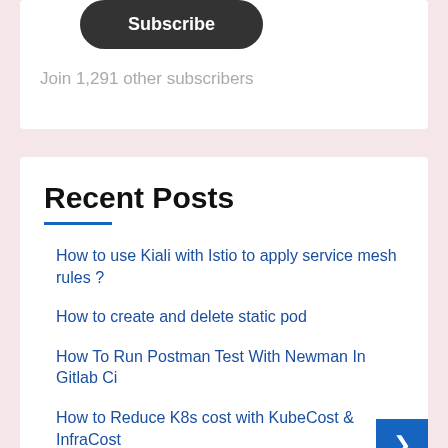Subscribe
Join 1,291 other subscribers
Recent Posts
How to use Kiali with Istio to apply service mesh rules ?
How to create and delete static pod
How To Run Postman Test With Newman In Gitlab Ci
How to Reduce K8s cost with KubeCost & InfraCost